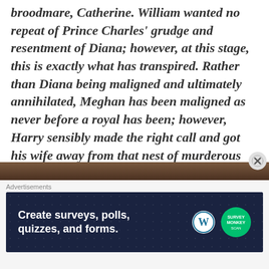broodmare, Catherine. William wanted no repeat of Prince Charles' grudge and resentment of Diana; however, at this stage, this is exactly what has transpired. Rather than Diana being maligned and ultimately annihilated, Meghan has been maligned as never before a royal has been; however, Harry sensibly made the right call and got his wife away from that nest of murderous ghouls.
[Figure (photo): Partial photo strip visible at the bottom of the article content area]
Advertisements
[Figure (screenshot): Advertisement banner: Create surveys, polls, quizzes, and forms. WordPress and SurveyMonkey logos.]